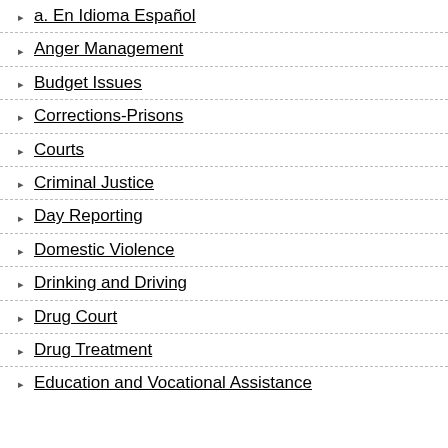a. En Idioma Español
Anger Management
Budget Issues
Corrections-Prisons
Courts
Criminal Justice
Day Reporting
Domestic Violence
Drinking and Driving
Drug Court
Drug Treatment
Education and Vocational Assistance